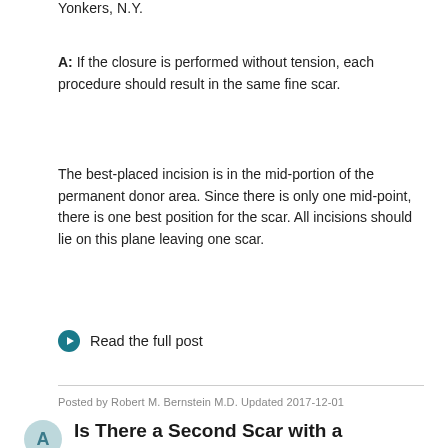Yonkers, N.Y.
A: If the closure is performed without tension, each procedure should result in the same fine scar.
The best-placed incision is in the mid-portion of the permanent donor area. Since there is only one mid-point, there is one best position for the scar. All incisions should lie on this plane leaving one scar.
Read the full post
Posted by Robert M. Bernstein M.D. Updated 2017-12-01
Is There a Second Scar with a Second FUT Hair Transplant?